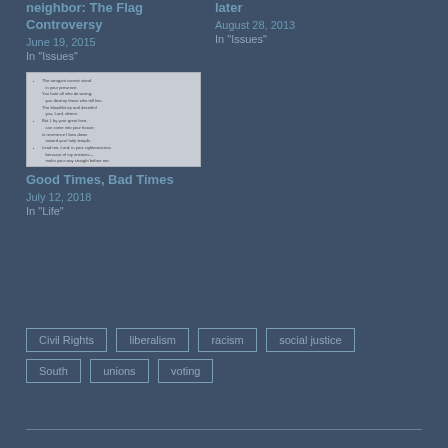neighbor: The Flag Controversy
June 19, 2015
In "Issues"
later
August 28, 2013
In "Issues"
[Figure (illustration): Thumbnail image showing a bulleted poem or psalm text on a light background]
Good Times, Bad Times
July 12, 2018
In "Life"
Civil Rights
liberalism
racism
social justice
South
unions
voting